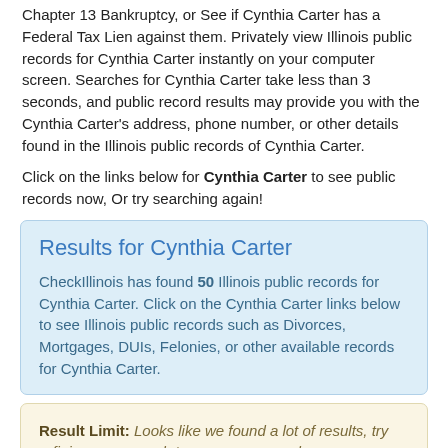Chapter 13 Bankruptcy, or See if Cynthia Carter has a Federal Tax Lien against them. Privately view Illinois public records for Cynthia Carter instantly on your computer screen. Searches for Cynthia Carter take less than 3 seconds, and public record results may provide you with the Cynthia Carter's address, phone number, or other details found in the Illinois public records of Cynthia Carter.
Click on the links below for Cynthia Carter to see public records now, Or try searching again!
Results for Cynthia Carter
CheckIllinois has found 50 Illinois public records for Cynthia Carter. Click on the Cynthia Carter links below to see Illinois public records such as Divorces, Mortgages, DUIs, Felonies, or other available records for Cynthia Carter.
Result Limit: Looks like we found a lot of results, try refining your search to see more records..
Name